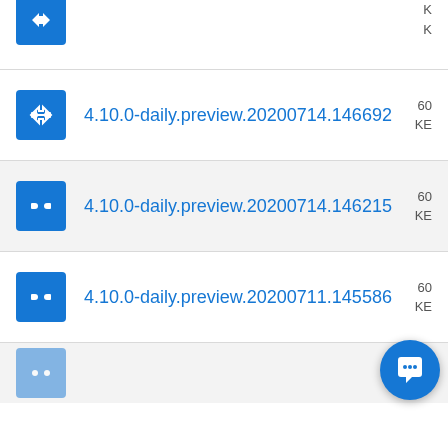(partial top row - truncated)
4.10.0-daily.preview.20200714.146692
4.10.0-daily.preview.20200714.146215
4.10.0-daily.preview.20200711.145586
(partial bottom row - truncated)